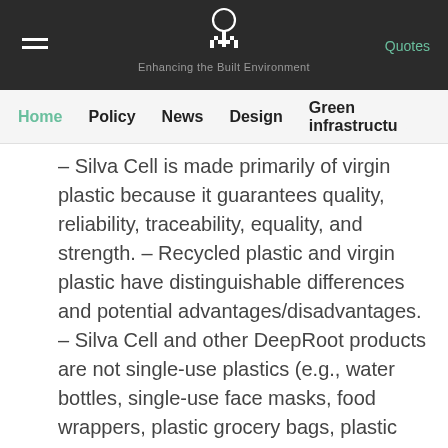Enhancing the Built Environment | Quotes
Home | Policy | News | Design | Green infrastructure
– Silva Cell is made primarily of virgin plastic because it guarantees quality, reliability, traceability, equality, and strength. – Recycled plastic and virgin plastic have distinguishable differences and potential advantages/disadvantages. – Silva Cell and other DeepRoot products are not single-use plastics (e.g., water bottles, single-use face masks, food wrappers, plastic grocery bags, plastic lids), which...